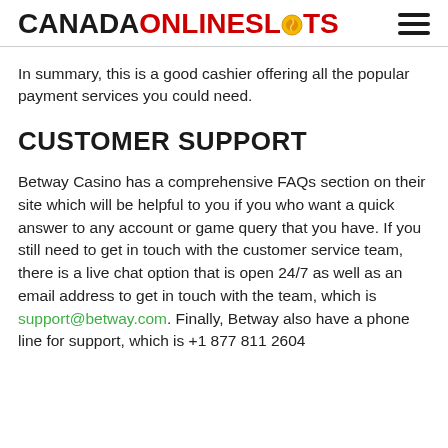CANADAONLINESLOTS
In summary, this is a good cashier offering all the popular payment services you could need.
CUSTOMER SUPPORT
Betway Casino has a comprehensive FAQs section on their site which will be helpful to you if you who want a quick answer to any account or game query that you have. If you still need to get in touch with the customer service team, there is a live chat option that is open 24/7 as well as an email address to get in touch with the team, which is support@betway.com. Finally, Betway also have a phone line for support, which is +1 877 811 2604